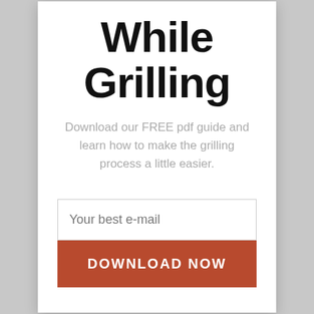While Grilling
Download our FREE pdf guide and learn how to make the grilling process a little easier.
[Figure (other): Email input field with placeholder text 'Your best e-mail' and a dark red 'DOWNLOAD NOW' button below it]